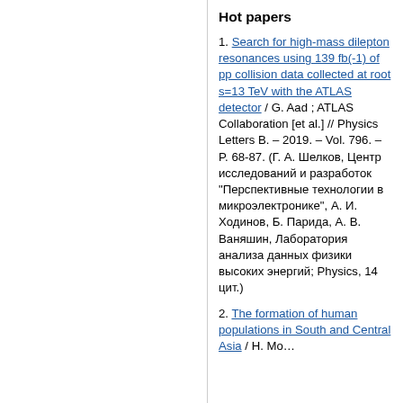Hot papers
1. Search for high-mass dilepton resonances using 139 fb(-1) of pp collision data collected at root s=13 TeV with the ATLAS detector / G. Aad ; ATLAS Collaboration [et al.] // Physics Letters B. – 2019. – Vol. 796. – P. 68-87. (Г. А. Шелков, Центр исследований и разработок "Перспективные технологии в микроэлектронике", А. И. Ходинов, Б. Парида, А. В. Ваняшин, Лаборатория анализа данных физики высоких энергий; Physics, 14 цит.)
2. The formation of human populations in South and Central Asia / H. Mo...